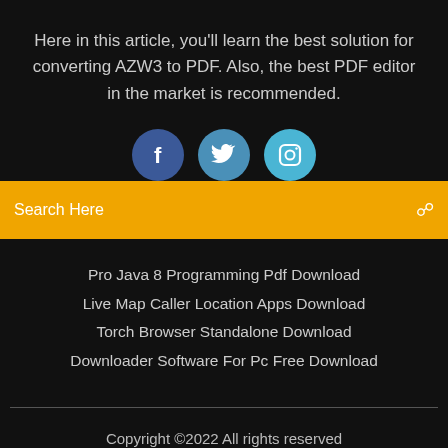Here in this article, you'll learn the best solution for converting AZW3 to PDF. Also, the best PDF editor in the market is recommended.
[Figure (infographic): Three social media icon buttons: Facebook (dark blue circle with 'f'), Twitter (medium blue circle with bird icon), Instagram (light blue circle with camera icon)]
Search Here
Pro Java 8 Programming Pdf Download
Live Map Caller Location Apps Download
Torch Browser Standalone Download
Downloader Software For Pc Free Download
Copyright ©2022 All rights reserved